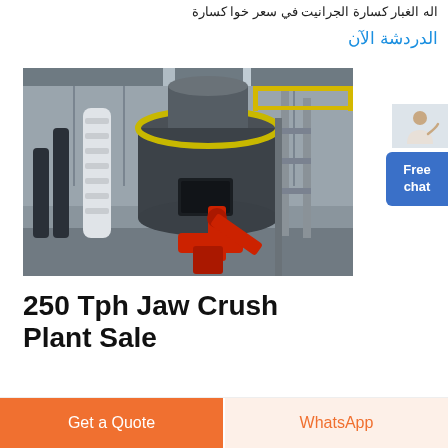اله الغبار كسارة الجرانيت في سعر خوا كسارة
الدردشة الآن
[Figure (photo): Industrial jaw crushing plant machinery with large cylindrical mill, red mechanical arm, and steel structure inside a factory building]
250 Tph Jaw Crush Plant Sale
Get a Quote
WhatsApp